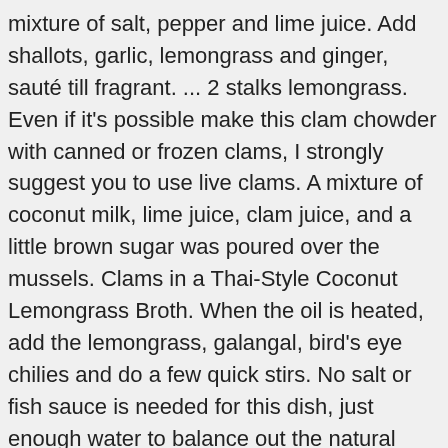mixture of salt, pepper and lime juice. Add shallots, garlic, lemongrass and ginger, sauté till fragrant. ... 2 stalks lemongrass. Even if it's possible make this clam chowder with canned or frozen clams, I strongly suggest you to use live clams. A mixture of coconut milk, lime juice, clam juice, and a little brown sugar was poured over the mussels. Clams in a Thai-Style Coconut Lemongrass Broth. When the oil is heated, add the lemongrass, galangal, bird's eye chilies and do a few quick stirs. No salt or fish sauce is needed for this dish, just enough water to balance out the natural saltiness of the clams—about 1/4 cup to 1/2 cup for a pound of clams. 3-4 stalls of Lemongrass, cut into 3 segments, smashed the head of it. Stir the lemon zest and juice, fish ... Place the remaining shallots, garlic, lemongrass amd red Thai child's either in a food processor or mortar amd pestle. Ingredients: 17 oz. Step 3. 6 Thai chili peppers, roughly chopped (adjust with different chilis or the amount to achieve desired heat/spice preference) 5 Makrut lime leaves. Asian Coconut Broth Clams made with lemongrass, ginger and cilantro is wonderful when